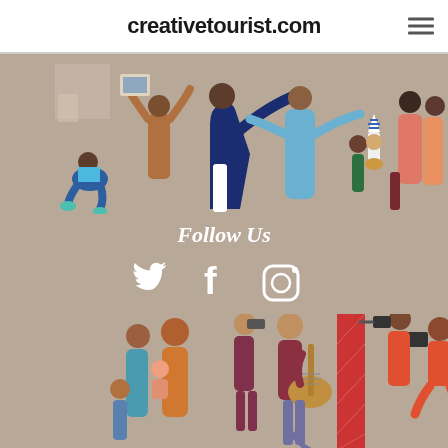creativetourist.com
[Figure (illustration): Flat-style illustration of diverse people in a gallery or public space: a seated reader, people hanging artwork, figures with children, adults conversing, on a taupe background.]
Follow Us
[Figure (illustration): Three white social media icons: Twitter bird, Facebook f, and Instagram camera, centered on taupe background.]
[Figure (illustration): Flat-style illustration of people engaged in creative activities: a family embracing, photographers taking photos, a musician playing a lute/guitar, on a taupe background.]